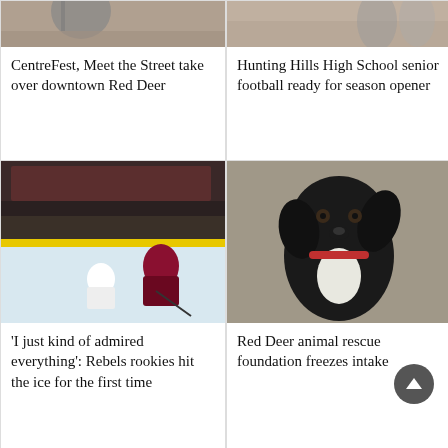[Figure (photo): Partial image cropped at top showing what appears to be a street festival scene, top left card]
CentreFest, Meet the Street take over downtown Red Deer
[Figure (photo): Partial image cropped at top showing runners on a track or field, top right card]
Hunting Hills High School senior football ready for season opener
[Figure (photo): Hockey players on ice during a game, Red Deer Rebels rookies]
‘I just kind of admired everything’: Rebels rookies hit the ice for the first time
[Figure (photo): Black dog with white chest markings looking at camera with tilted head, Red Deer animal rescue]
Red Deer animal rescue foundation freezes intake